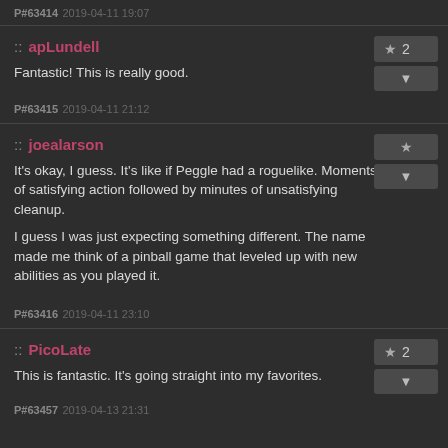P#63414 2019-04-11 19:07
:: apLundell
Fantastic! This is really good.
P#63415 2019-04-11 21:12
:: joealarson
It's okay, I guess. It's like if Peggle had a roguelike. Moments of satisfying action followed by minutes of unsatisfying cleanup.

I guess I was just expecting something different. The name made me think of a pinball game that leveled up with new abilities as you played it.
P#63416 2019-04-11 23:10
:: PicoLate
This is fantastic. It's going straight into my favorites.
P#63457 2019-04-13 21:31